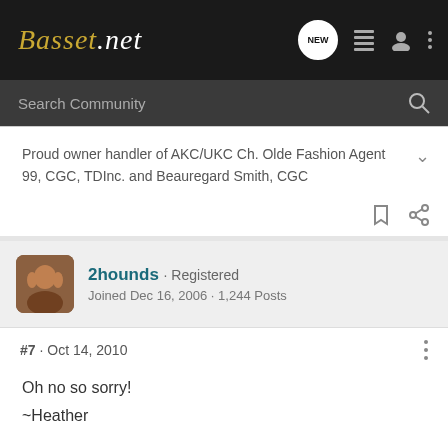Basset.net
Search Community
Proud owner handler of AKC/UKC Ch. Olde Fashion Agent 99, CGC, TDInc. and Beauregard Smith, CGC
2hounds · Registered
Joined Dec 16, 2006 · 1,244 Posts
#7 · Oct 14, 2010
Oh no so sorry!
~Heather